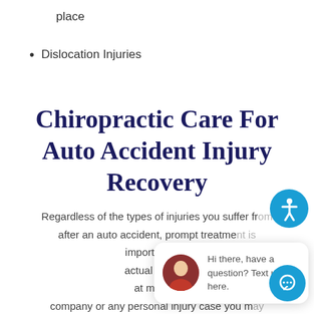place
Dislocation Injuries
Chiropractic Care For Auto Accident Injury Recovery
Regardless of the types of injuries you suffer from after an auto accident, prompt treatment is important in determining the extent of the actual injury and can affect any claims aimed at making an insurance company or any personal injury case you may decide to file. At Goldberg Wellness & Acupuncture Center in Palm Beach Gardens, FL